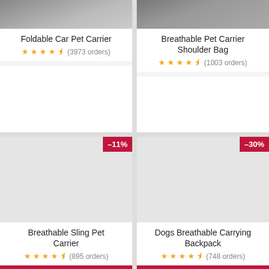[Figure (photo): Foldable Car Pet Carrier product image (top cropped)]
Foldable Car Pet Carrier
★★★★☆ (3973 orders)
[Figure (photo): Breathable Pet Carrier Shoulder Bag product image (top cropped)]
Breathable Pet Carrier Shoulder Bag
★★★★☆ (1003 orders)
[Figure (photo): Breathable Sling Pet Carrier product image with -11% discount badge]
Breathable Sling Pet Carrier
★★★★☆ (895 orders)
[Figure (photo): Dogs Breathable Carrying Backpack product image with -30% discount badge]
Dogs Breathable Carrying Backpack
★★★★☆ (748 orders)